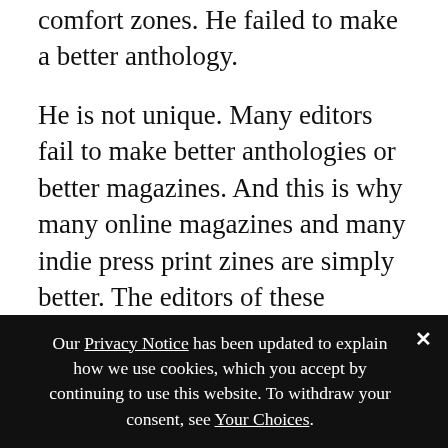comfort zones. He failed to make a better anthology.
He is not unique. Many editors fail to make better anthologies or better magazines. And this is why many online magazines and many indie press print zines are simply better. The editors of these markets recognize that the demographic for speculative fiction is not narrow. That the present and the future of the genre and the community is not just heterosexual, able-bodied, upper or middle-class American or British white males. The future of SF is made up of women and people of color, and people of various cultures and classes, and LGBT folks, and non-Americans and non-Western nationalities (China, India, the Philippines, to name just three).
Our Privacy Notice has been updated to explain how we use cookies, which you accept by continuing to use this website. To withdraw your consent, see Your Choices.